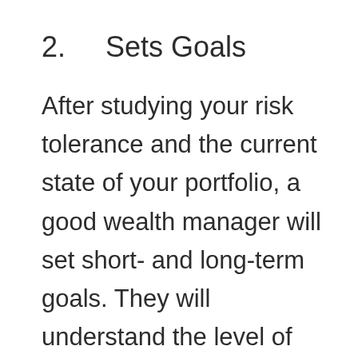2.    Sets Goals
After studying your risk tolerance and the current state of your portfolio, a good wealth manager will set short- and long-term goals. They will understand the level of risk and volatility that your current situation can withstand and will plan the next steps accordingly. These types of decisions